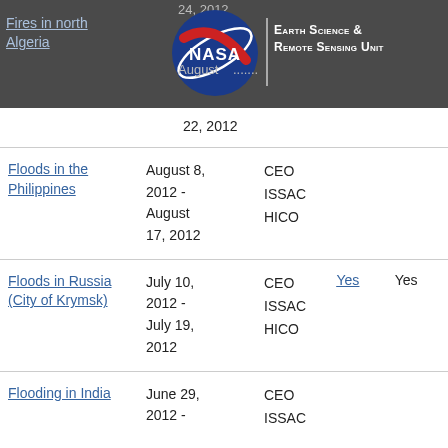[Figure (logo): NASA Earth Science & Remote Sensing Unit logo with NASA meatball and text]
| Event | Date | Sensors | Report1 | Report2 |
| --- | --- | --- | --- | --- |
| Fires in north Algeria | August 22, 2012 |  |  |  |
| Floods in the Philippines | August 8, 2012 - August 17, 2012 | CEO ISSAC HICO |  |  |
| Floods in Russia (City of Krymsk) | July 10, 2012 - July 19, 2012 | CEO ISSAC HICO | Yes | Yes |
| Flooding in India | June 29, 2012 - | CEO ISSAC |  |  |